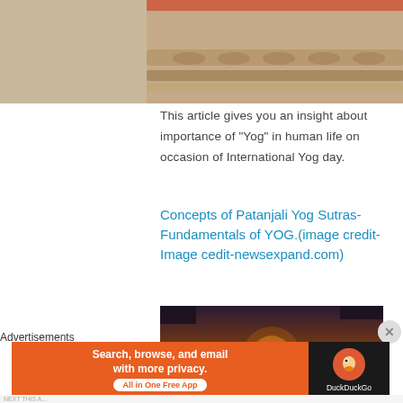[Figure (photo): Top portion of a decorative stone or marble architectural element, showing ornamental carvings, partially cut off at top]
This article gives you an insight about importance of "Yog" in human life on occasion of International Yog day.
Concepts of Patanjali Yog Sutras- Fundamentals of YOG.(image credit-Image cedit-newsexpand.com)
[Figure (photo): A sage or saint statue in meditation pose against a dramatic sunset over water, with tree silhouettes above]
Advertisements
[Figure (screenshot): DuckDuckGo advertisement banner: orange section with text 'Search, browse, and email with more privacy.' and 'All in One Free App' button; dark section with DuckDuckGo duck logo and brand name]